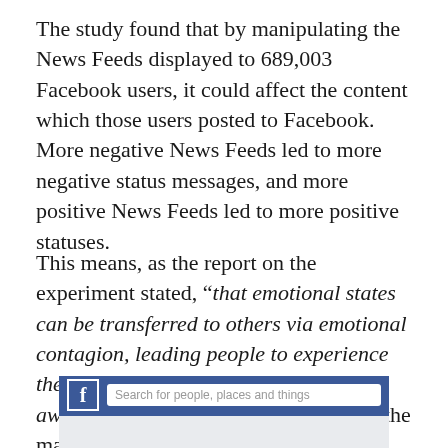The study found that by manipulating the News Feeds displayed to 689,003 Facebook users, it could affect the content which those users posted to Facebook. More negative News Feeds led to more negative status messages, and more positive News Feeds led to more positive statuses.
This means, as the report on the experiment stated, “that emotional states can be transferred to others via emotional contagion, leading people to experience the same emotions without their awareness.” To put it another way, it is the manipulation of the herd, or zombie, mentality.
[Figure (screenshot): Partial screenshot of Facebook interface showing the Facebook logo, search bar with placeholder text 'Search for people, places and things', and a blue navigation bar]